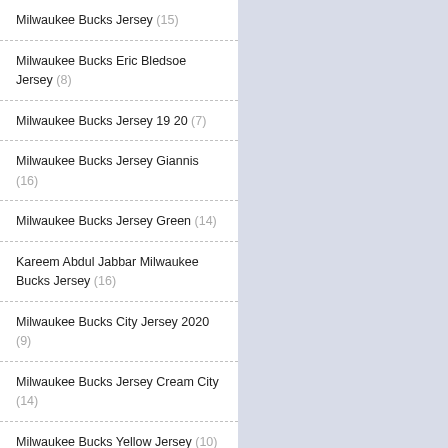Milwaukee Bucks Jersey (15)
Milwaukee Bucks Eric Bledsoe Jersey (8)
Milwaukee Bucks Jersey 19 20 (7)
Milwaukee Bucks Jersey Giannis (16)
Milwaukee Bucks Jersey Green (14)
Kareem Abdul Jabbar Milwaukee Bucks Jersey (16)
Milwaukee Bucks City Jersey 2020 (9)
Milwaukee Bucks Jersey Cream City (14)
Milwaukee Bucks Yellow Jersey (10)
Milwaukee Bucks Jersey Yellow (12)
Milwaukee Bucks Youth Jersey (17)
Utah Jazz (86)
Utah Jazz Jersey (4)
Utah Jazz Jersey Schedule 2019 (2)